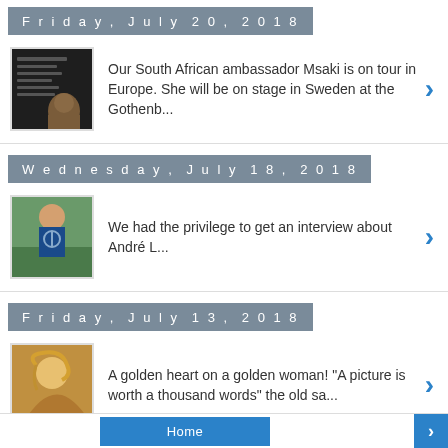Friday, July 20, 2018
[Figure (photo): Thumbnail photo of South African ambassador Msaki]
Our South African ambassador Msaki is on tour in Europe. She will be on stage in Sweden at the Gothenb...
Wednesday, July 18, 2018
[Figure (photo): Thumbnail photo of person in blue t-shirt outdoors]
We had the privilege to get an interview about André L...
Friday, July 13, 2018
[Figure (photo): Thumbnail photo of woman with blonde hair outdoors]
A golden heart on a golden woman! "A picture is worth a thousand words" the old sa...
Home